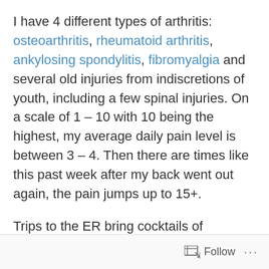I have 4 different types of arthritis: osteoarthritis, rheumatoid arthritis, ankylosing spondylitis, fibromyalgia and several old injuries from indiscretions of youth, including a few spinal injuries. On a scale of 1 – 10 with 10 being the highest, my average daily pain level is between 3 – 4. Then there are times like this past week after my back went out again, the pain jumps up to 15+.
Trips to the ER bring cocktails of morphine and valium which zonk me out for a day or 2, and usually makes me sick. Chiropractors won't touch me anymore because of the degeneration of my spine, and the latest physicians recommended surgeries only give a 40% chance of success.
Follow ···